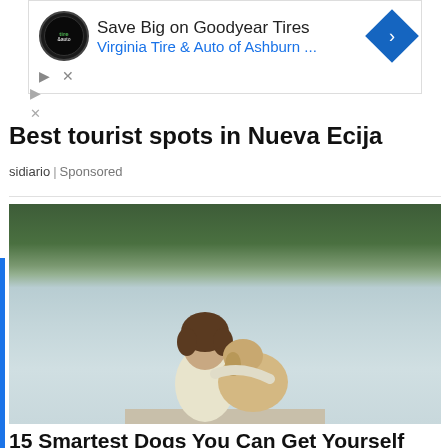[Figure (infographic): Advertisement banner for Virginia Tire & Auto of Ashburn with Goodyear Tires logo, navigation arrow icon, and ad controls]
Best tourist spots in Nueva Ecija
sidiario | Sponsored
[Figure (photo): Person with curly hair sitting on a dock with arm around a large fluffy dog, both looking out over a lake with forested shores in the background]
15 Smartest Dogs You Can Get Yourself